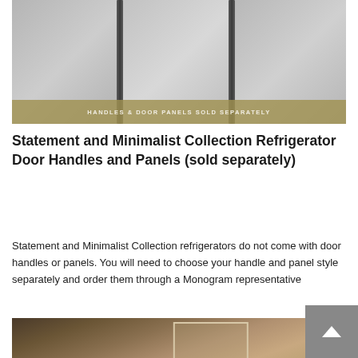[Figure (photo): Close-up photo of refrigerator door panels with vertical dark handles, showing a side-by-side panel arrangement. A golden/olive colored banner across the bottom reads 'HANDLES & DOOR PANELS SOLD SEPARATELY']
Statement and Minimalist Collection Refrigerator Door Handles and Panels (sold separately)
Statement and Minimalist Collection refrigerators do not come with door handles or panels. You will need to choose your handle and panel style separately and order them through a Monogram representative
[Figure (photo): Interior/room scene with warm brown tones showing a built-in refrigerator with panel doors in a kitchen or living space setting]